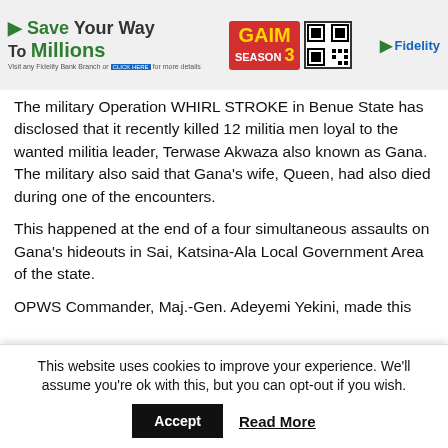[Figure (photo): Fidelity Bank advertisement banner with 'Save Your Way To Millions' text on left, GAIM Season 3 promotion in center with QR code, and Fidelity logo on right]
The military Operation WHIRL STROKE in Benue State has disclosed that it recently killed 12 militia men loyal to the wanted militia leader, Terwase Akwaza also known as Gana. The military also said that Gana's wife, Queen, had also died during one of the encounters.
This happened at the end of a four simultaneous assaults on Gana's hideouts in Sai, Katsina-Ala Local Government Area of the state.
OPWS Commander, Maj.-Gen. Adeyemi Yekini, made this
This website uses cookies to improve your experience. We'll assume you're ok with this, but you can opt-out if you wish.